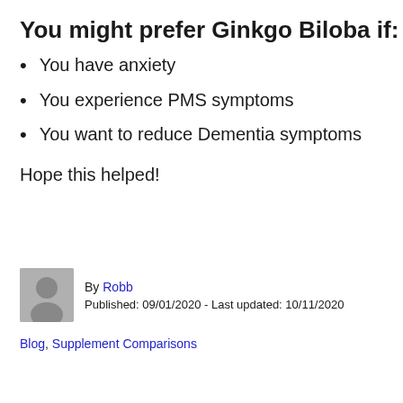You might prefer Ginkgo Biloba if:
You have anxiety
You experience PMS symptoms
You want to reduce Dementia symptoms
Hope this helped!
By Robb
Published: 09/01/2020 - Last updated: 10/11/2020
Blog, Supplement Comparisons